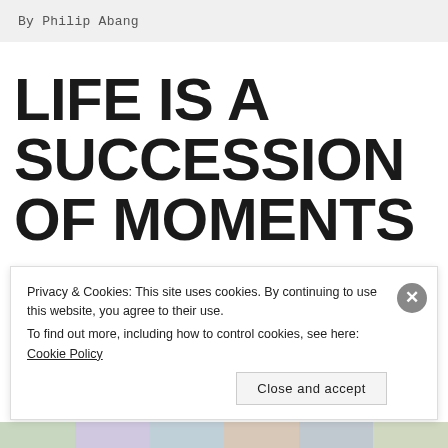By Philip Abang
LIFE IS A SUCCESSION OF MOMENTS
Privacy & Cookies: This site uses cookies. By continuing to use this website, you agree to their use.
To find out more, including how to control cookies, see here: Cookie Policy
Close and accept